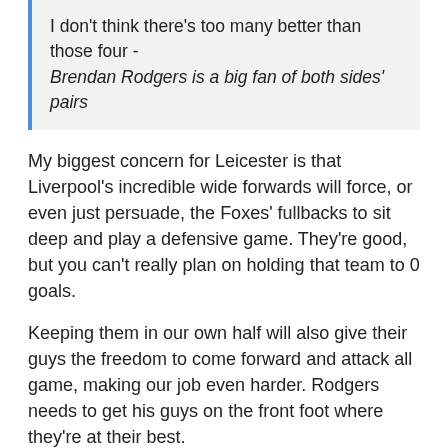I don't think there's too many better than those four - Brendan Rodgers is a big fan of both sides' pairs
My biggest concern for Leicester is that Liverpool's incredible wide forwards will force, or even just persuade, the Foxes' fullbacks to sit deep and play a defensive game. They're good, but you can't really plan on holding that team to 0 goals.
Keeping them in our own half will also give their guys the freedom to come forward and attack all game, making our job even harder. Rodgers needs to get his guys on the front foot where they're at their best.
2. Liverpool avoiding Wilf
One thing that should help our defenders to get forward is the excellent cover that Wilfred Ndidi